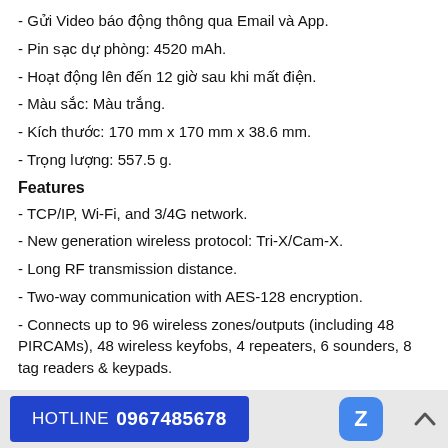- Gửi Video báo động thông qua Email và App.
- Pin sạc dự phòng: 4520 mAh.
- Hoạt động lên đến 12 giờ sau khi mất điện.
- Màu sắc: Màu trắng.
- Kích thước: 170 mm x 170 mm x 38.6 mm.
- Trọng lượng: 557.5 g.
Features
- TCP/IP, Wi-Fi, and 3/4G network.
- New generation wireless protocol: Tri-X/Cam-X.
- Long RF transmission distance.
- Two-way communication with AES-128 encryption.
- Connects up to 96 wireless zones/outputs (including 48 PIRCAMs), 48 wireless keyfobs, 4 repeaters, 6 sounders, 8 tag readers & keypads.
HOTLINE 0967485678